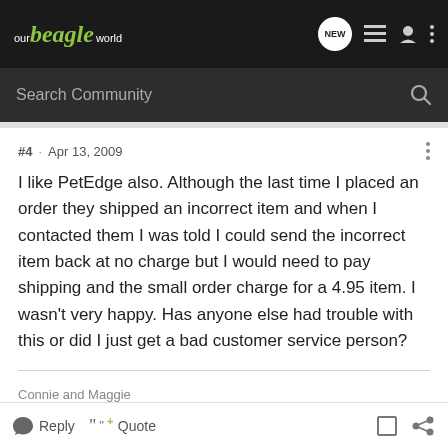our beagle world
Search Community
#4 · Apr 13, 2009
I like PetEdge also. Although the last time I placed an order they shipped an incorrect item and when I contacted them I was told I could send the incorrect item back at no charge but I would need to pay shipping and the small order charge for a 4.95 item. I wasn't very happy. Has anyone else had trouble with this or did I just get a bad customer service person?
Connie and Maggie
Reply  Quote